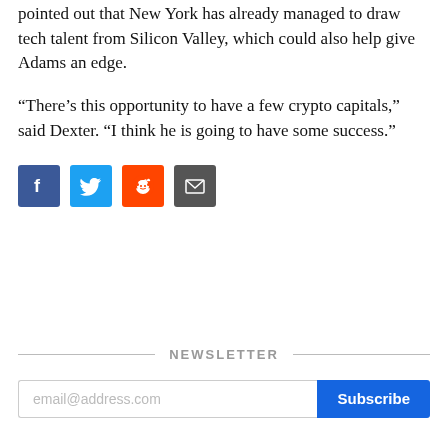pointed out that New York has already managed to draw tech talent from Silicon Valley, which could also help give Adams an edge.
“There’s this opportunity to have a few crypto capitals,” said Dexter. “I think he is going to have some success.”
[Figure (infographic): Social share icons: Facebook (blue), Twitter (light blue), Reddit (orange), Email (dark gray)]
NEWSLETTER
email@address.com  Subscribe